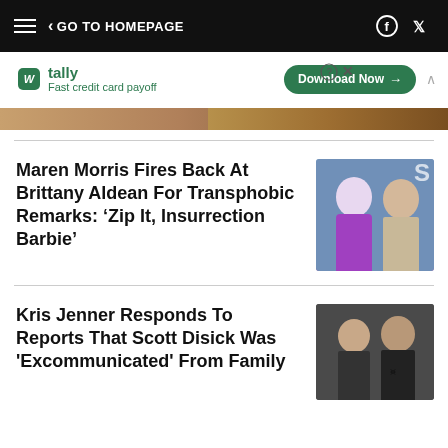GO TO HOMEPAGE
[Figure (other): Tally app advertisement banner: Fast credit card payoff, Download Now button]
[Figure (photo): Partial image strip below ad banner]
Maren Morris Fires Back At Brittany Aldean For Transphobic Remarks: ‘Zip It, Insurrection Barbie’
[Figure (photo): Photo of two women side by side at an event]
Kris Jenner Responds To Reports That Scott Disick Was 'Excommunicated' From Family
[Figure (photo): Photo of Kris Jenner and Scott Disick at an event]